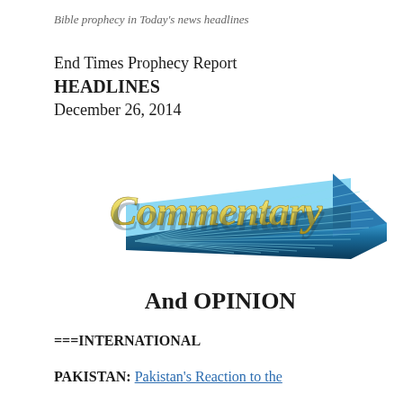Bible prophecy in Today's news headlines
End Times Prophecy Report
HEADLINES
December 26, 2014
[Figure (illustration): 3D rendered 'Commentary' text logo with gold lettering on top and blue/silver metallic angular extrusion below, arrow-like shape pointing right]
And OPINION
===INTERNATIONAL
PAKISTAN: Pakistan's Reaction to the